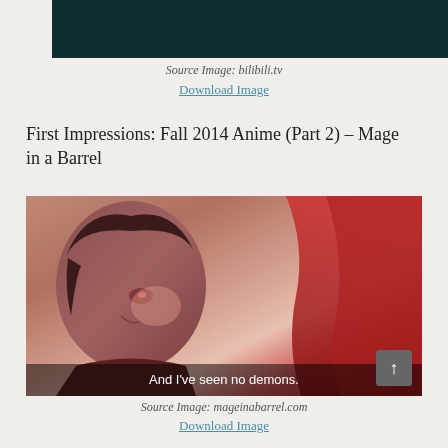[Figure (screenshot): Dark teal/dark anime screenshot at the top of the page]
Source Image: bilibili.tv
Download Image
First Impressions: Fall 2014 Anime (Part 2) – Mage in a Barrel
[Figure (screenshot): Anime screenshot showing a character with subtitle text: And I've seen no demons.]
Source Image: mageinabarrel.com